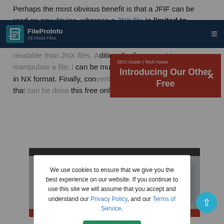FileProInfo — All About Files | SEO Guide | Tech News
Perhaps the most obvious benefit is that a JFIF can be read on any device, whereas a JNX file is limited to devices that support the JNX format. Converting a JNX to JFIF also means that JIF files tend to be more readable than JNX files. Additionally, if you want to manipulate a file, it can be much easier to do so in JFIF than in JNX format. Finally, converting a JNX to JFIF is a quick and easy process that can be done using this free online JNX
Introducing Our Other Free
We use cookies to ensure that we give you the best experience on our website. If you continue to use this site we will assume that you accept and understand our Privacy Policy, and our Terms of Service.
[Figure (screenshot): Screenshot of a file conversion tool interface with gray background, dark top bar, blue buttons on left, and red bottom bar]
I Agree